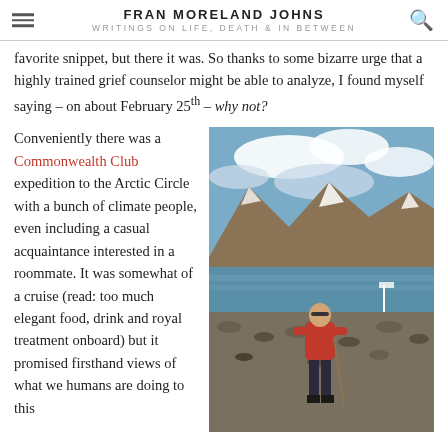FRAN MORELAND JOHNS — WRITINGS ON LIFE, DEATH & IN BETWEEN
favorite snippet, but there it was. So thanks to some bizarre urge that a highly trained grief counselor might be able to analyze, I found myself saying – on about February 25th – why not?
Conveniently there was a Commonwealth Club expedition to the Arctic Circle with a bunch of climate people, even including a casual acquaintance interested in a roommate. It was somewhat of a cruise (read: too much elegant food, drink and royal treatment onboard) but it promised firsthand views of what we humans are doing to this
[Figure (photo): A person in a red jacket and dark pants standing on rocky Arctic terrain with mountains, snow, and a body of water in the background under a cloudy sky.]